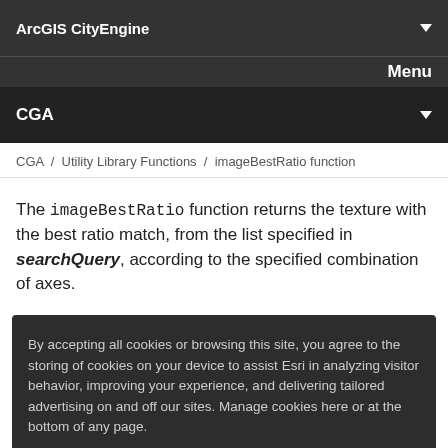ArcGIS CityEngine
Menu
CGA
CGA / Utility Library Functions / imageBestRatio function
The imageBestRatio function returns the texture with the best ratio match, from the list specified in searchQuery, according to the specified combination of axes.
By accepting all cookies or browsing this site, you agree to the storing of cookies on your device to assist Esri in analyzing visitor behavior, improving your experience, and delivering tailored advertising on and off our sites. Manage cookies here or at the bottom of any page.